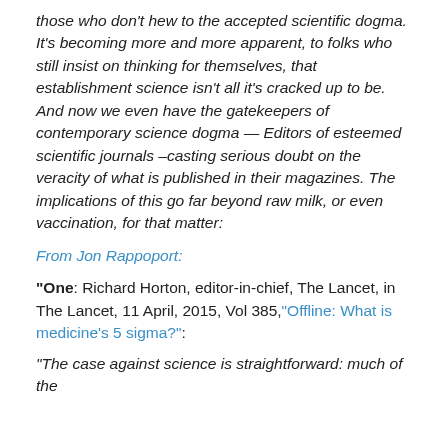those who don't hew to the accepted scientific dogma. It's becoming more and more apparent, to folks who still insist on thinking for themselves, that establishment science isn't all it's cracked up to be. And now we even have the gatekeepers of contemporary science dogma — Editors of esteemed scientific journals –casting serious doubt on the veracity of what is published in their magazines. The implications of this go far beyond raw milk, or even vaccination, for that matter:
From Jon Rappoport:
"One: Richard Horton, editor-in-chief, The Lancet, in The Lancet, 11 April, 2015, Vol 385,"Offline: What is medicine's 5 sigma?":
"The case against science is straightforward: much of the scientific literature, perhaps half, may simply be untrue.